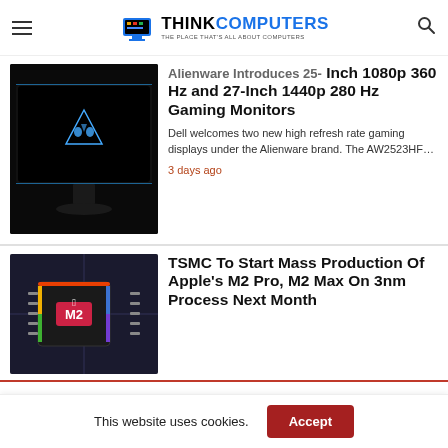ThinkComputers - The Place That's All About Computers
Alienware Introduces 25-Inch 1080p 360 Hz and 27-Inch 1440p 280 Hz Gaming Monitors
[Figure (photo): Alienware gaming monitor with glowing Alienware logo on a black screen, on a dark stand]
Dell welcomes two new high refresh rate gaming displays under the Alienware brand. The AW2523HF…
3 days ago
TSMC To Start Mass Production Of Apple's M2 Pro, M2 Max On 3nm Process Next Month
[Figure (photo): Apple M2 chip on circuit board close-up photograph with colorful rainbow edge lighting]
This website uses cookies.
Accept